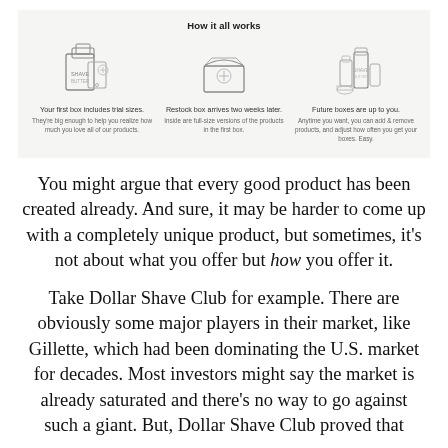[Figure (infographic): How it all works - three step infographic showing: step 1 (product boxes icon) Your first box includes trial sizes. They're big enough to help you realize how much you love all of our products.; step 2 (box icon) Restock box arrives two weeks later. Inside are full-size versions of the products in the first box.; step 3 (product bottles icon) Future boxes are up to you. Anytime you want, you can add & remove products, and adjust how often you get your boxes. Easy.]
You might argue that every good product has been created already. And sure, it may be harder to come up with a completely unique product, but sometimes, it's not about what you offer but how you offer it.
Take Dollar Shave Club for example. There are obviously some major players in their market, like Gillette, which had been dominating the U.S. market for decades. Most investors might say the market is already saturated and there's no way to go against such a giant. But, Dollar Shave Club proved that